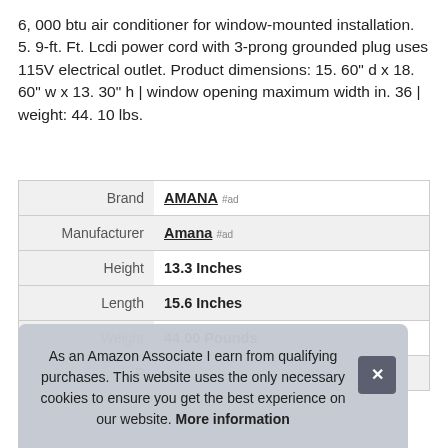6, 000 btu air conditioner for window-mounted installation. 5. 9-ft. Ft. Lcdi power cord with 3-prong grounded plug uses 115V electrical outlet. Product dimensions: 15. 60" d x 18. 60" w x 13. 30" h | window opening maximum width in. 36 | weight: 44. 10 lbs.
|  |  |
| --- | --- |
| Brand | AMANA #ad |
| Manufacturer | Amana #ad |
| Height | 13.3 Inches |
| Length | 15.6 Inches |
| Weight | 44.00 Pounds |
| P |  |
As an Amazon Associate I earn from qualifying purchases. This website uses the only necessary cookies to ensure you get the best experience on our website. More information